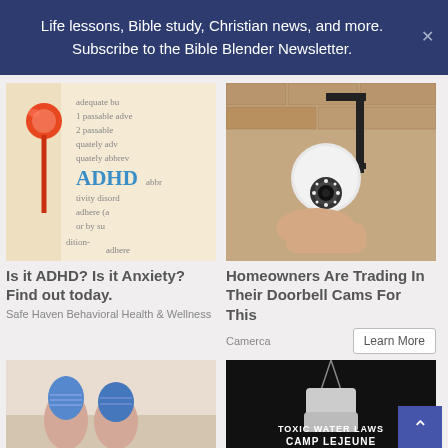Life lessons, Bible study, Christian news, and more. Subscribe to the Bible Blender Newsletter.
[Figure (photo): Close-up of a dictionary page showing the word ADHD with a red pushpin on it]
Is it ADHD? Is it Anxiety? Find out today.
Safe Haven Behavioral Health & Wellness
[Figure (photo): Security camera mounted on a brick wall]
Homeowners Are Trading In Their Doorbell Cams For This
Camerca
[Figure (photo): Person's feet with blue bandages on toes]
[Figure (photo): Military dog tags on black background with text TOXIC WATER LAWS and CAMP LEJEUNE]